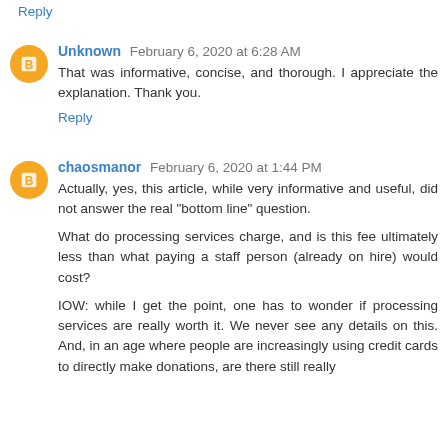Reply
Unknown  February 6, 2020 at 6:28 AM
That was informative, concise, and thorough. I appreciate the explanation. Thank you.
Reply
chaosmanor  February 6, 2020 at 1:44 PM
Actually, yes, this article, while very informative and useful, did not answer the real "bottom line" question.
What do processing services charge, and is this fee ultimately less than what paying a staff person (already on hire) would cost?
IOW: while I get the point, one has to wonder if processing services are really worth it. We never see any details on this. And, in an age where people are increasingly using credit cards to directly make donations, are there still really